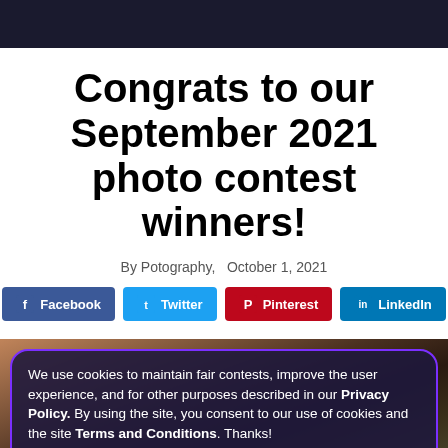Congrats to our September 2021 photo contest winners!
By Potography,   October 1, 2021
[Figure (screenshot): Social share buttons for Facebook, Twitter, Pinterest, and LinkedIn]
[Figure (photo): Photo of baked goods/pastries with a cookie consent overlay. Overlay text: 'We use cookies to maintain fair contests, improve the user experience, and for other purposes described in our Privacy Policy. By using the site, you consent to our use of cookies and the site Terms and Conditions. Thanks!' with a 'Got it!' button.]